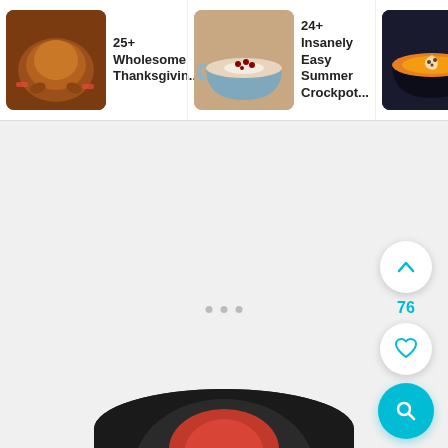[Figure (screenshot): App UI screenshot showing recipe card strip at top with three recipe cards: '25+ Wholesome Thanksgiving...', '24+ Insanely Easy Summer Crockpot...', 'Easy Croc... Butternut Squash So...' each with food thumbnail image. Below is a loading/empty state with three gray dots. Right side shows upvote button with count 76, a heart/save button, and a cyan search button. Bottom shows partial dark circular food image.]
25+ Wholesome Thanksgiving...
24+ Insanely Easy Summer Crockpot...
Easy Croc... Butternut Squash So...
76